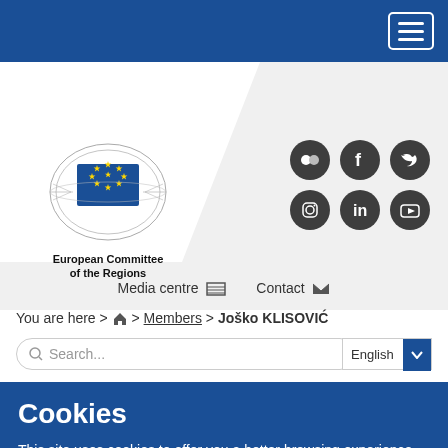European Committee of the Regions - navigation header with hamburger menu
[Figure (logo): European Committee of the Regions logo with EU flag and decorative border]
[Figure (infographic): Social media icons: Flickr, Facebook, Twitter, Instagram, LinkedIn, YouTube]
Media centre   Contact
You are here > Home > Members > Joško KLISOVIĆ
Search...
English
Cookies
This site uses cookies to offer you a better browsing experience. Find out more on how we use cookies and how you can change your settings.
I accept cookies
I refuse cookies